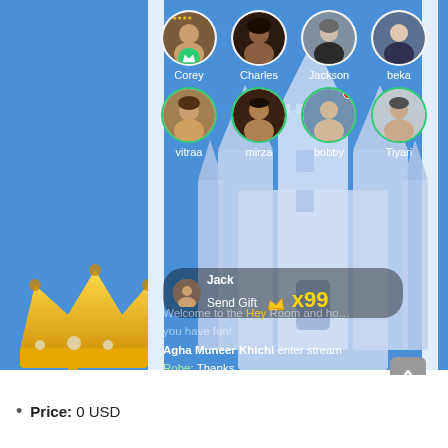[Figure (screenshot): Mobile livestreaming app screenshot showing a blue background with a castle illustration on the right, a gold crown on the left, user avatar circles in a 2x4 grid (Corey, Charles, Jackson, beka, vitraa, mirza, bobby, Tiyari), a gift notification bar showing Jack sent a Crown gift x99, and a chat feed with messages about entering the stream and sending gifts. White vertical bars frame the content.]
Price: 0 USD